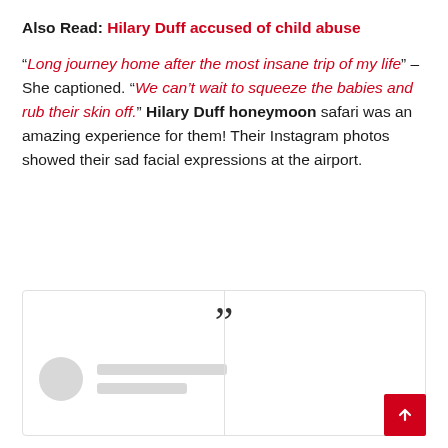Also Read: Hilary Duff accused of child abuse
"Long journey home after the most insane trip of my life" – She captioned. "We can't wait to squeeze the babies and rub their skin off." Hilary Duff honeymoon safari was an amazing experience for them! Their Instagram photos showed their sad facial expressions at the airport.
[Figure (other): A social media quote box widget with a large double-quotation mark at top center, a vertical divider line, and a blurred/placeholder profile section with a circle avatar and two gray placeholder lines for a name.]